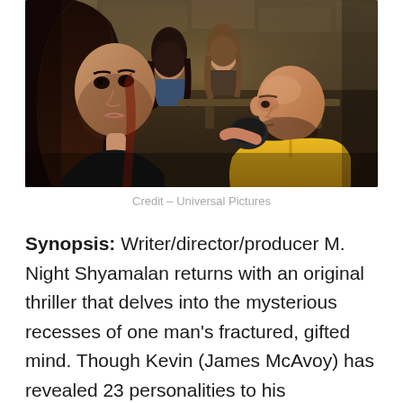[Figure (photo): Movie still from the film Split (Universal Pictures). A young woman with long dark hair faces a bald man in a yellow hoodie in a dimly lit stone-walled underground room. Two young women sit in the background.]
Credit – Universal Pictures
Synopsis: Writer/director/producer M. Night Shyamalan returns with an original thriller that delves into the mysterious recesses of one man's fractured, gifted mind. Though Kevin (James McAvoy) has revealed 23 personalities to his psychiatrist, there remains one still submerged who